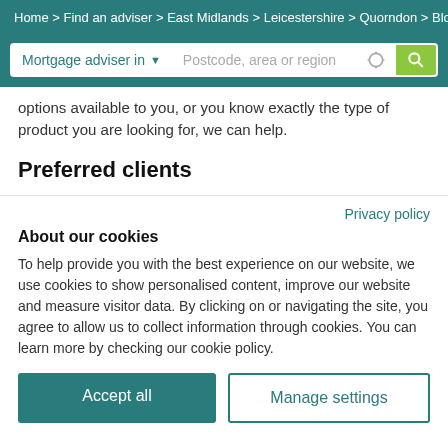Home > Find an adviser > East Midlands > Leicestershire > Quorndon > Blo
[Figure (screenshot): Search bar with 'Mortgage adviser in' dropdown and 'Postcode, area or region' input field with location and search icons]
options available to you, or you know exactly the type of product you are looking for, we can help.
Preferred clients
Privacy policy
About our cookies
To help provide you with the best experience on our website, we use cookies to show personalised content, improve our website and measure visitor data. By clicking on or navigating the site, you agree to allow us to collect information through cookies. You can learn more by checking our cookie policy.
Accept all
Manage settings